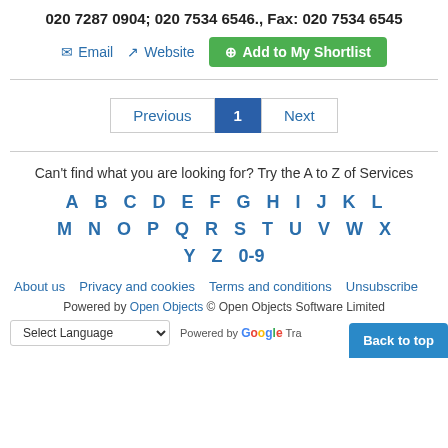020 7287 0904; 020 7534 6546., Fax: 020 7534 6545
Email   Website   + Add to My Shortlist
Previous  1  Next
Can't find what you are looking for? Try the A to Z of Services
A B C D E F G H I J K L M N O P Q R S T U V W X Y Z 0-9
About us   Privacy and cookies   Terms and conditions   Unsubscribe
Powered by Open Objects © Open Objects Software Limited
Select Language   Powered by Google Tra...   Back to top